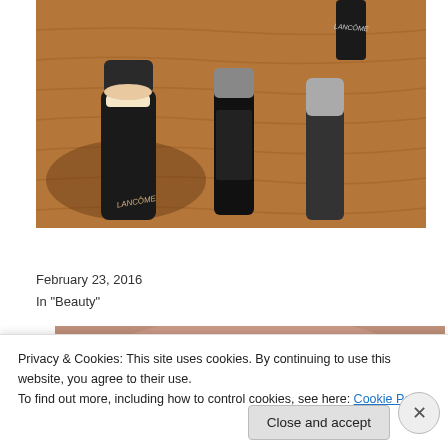[Figure (photo): Photo of Lancôme foundation sticks and other makeup products lying on a wooden surface. Three stick-style cosmetic products with black and silver packaging are visible, one labeled LANCÔME.]
Lancôme Teint Idole Foundation Stick: A Review
February 23, 2016
In "Beauty"
[Figure (photo): Partial photo of a person's face/skin, cropped, partially obscured by cookie consent banner.]
Privacy & Cookies: This site uses cookies. By continuing to use this website, you agree to their use.
To find out more, including how to control cookies, see here: Cookie Policy
Close and accept